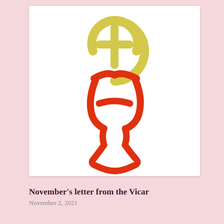[Figure (illustration): A stylized religious illustration on white background showing a eucharistic chalice drawn with bold red brushstrokes forming a goblet shape, with a yellow halo circle and yellow cross symbol above it, suggesting the Eucharist or Holy Communion]
November's letter from the Vicar
November 2, 2021